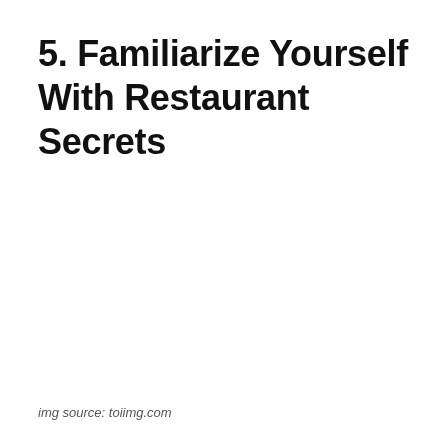5. Familiarize Yourself With Restaurant Secrets
img source: toiimg.com